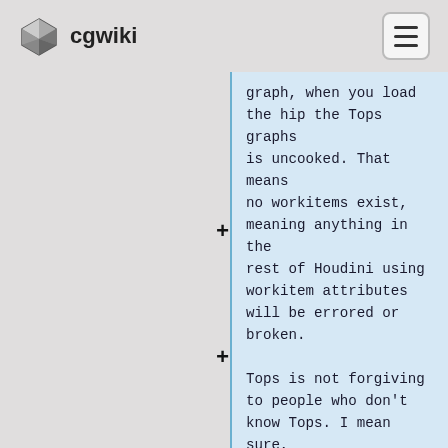cgwiki
graph, when you load the hip the Tops graphs is uncooked. That means no workitems exist, meaning anything in the rest of Houdini using workitem attributes will be errored or broken.
Tops is not forgiving to people who don't know Tops. I mean sure, neither is Chops, nor Lops, nor esoteric Dops stuff, but at least with most of those you can save the hip in a